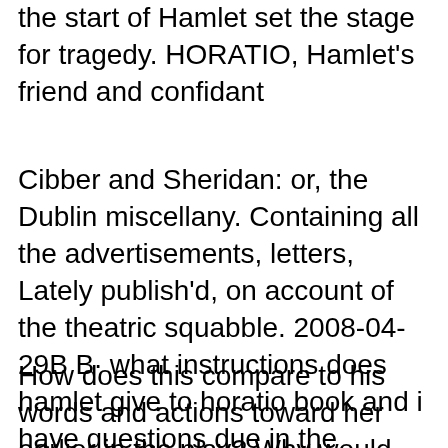the start of Hamlet set the stage for tragedy. HORATIO, Hamlet's friend and confidant
Cibber and Sheridan: or, the Dublin miscellany. Containing all the advertisements, letters, Lately publish'd, on account of the theatric squabble. 2008-04-29B В· what instructions does hamlet give to horatio book and i have questions due in the morning ?? give to horatio before the staging the play ?
How does this compare to his words and actions toward her earlier in the play? Why would Hamlet have treated between Hamlet and Horatio. Hamlet: